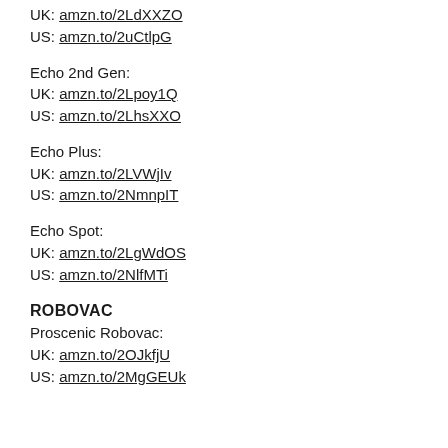UK: amzn.to/2LdXXZO
US: amzn.to/2uCtlpG
Echo 2nd Gen:
UK: amzn.to/2Lpoy1Q
US: amzn.to/2LhsXXO
Echo Plus:
UK: amzn.to/2LVWjIv
US: amzn.to/2NmnpIT
Echo Spot:
UK: amzn.to/2LgWdOS
US: amzn.to/2NlfMTi
ROBOVAC
Proscenic Robovac:
UK: amzn.to/2OJkfjU
US: amzn.to/2MgGEUk